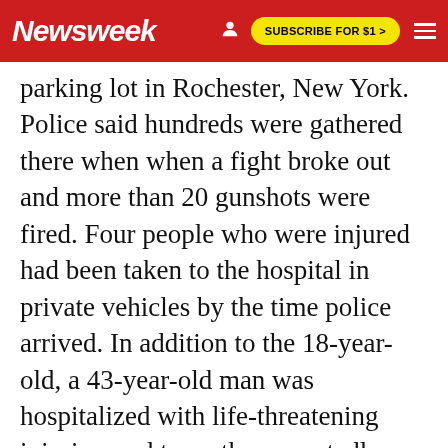Newsweek | SUBSCRIBE FOR $1 >
parking lot in Rochester, New York. Police said hundreds were gathered there when when a fight broke out and more than 20 gunshots were fired. Four people who were injured had been taken to the hospital in private vehicles by the time police arrived. In addition to the 18-year-old, a 43-year-old man was hospitalized with life-threatening injuries, and two other reportedly suffered non-life-threatening injuries.